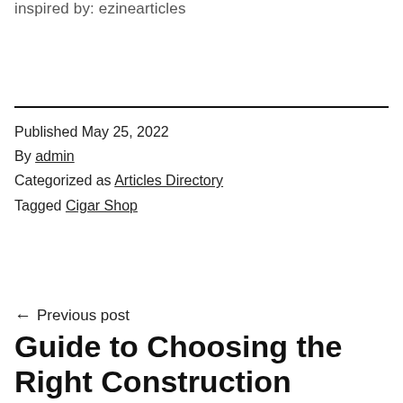inspired by: ezinearticles
Published May 25, 2022
By admin
Categorized as Articles Directory
Tagged Cigar Shop
← Previous post
Guide to Choosing the Right Construction Company